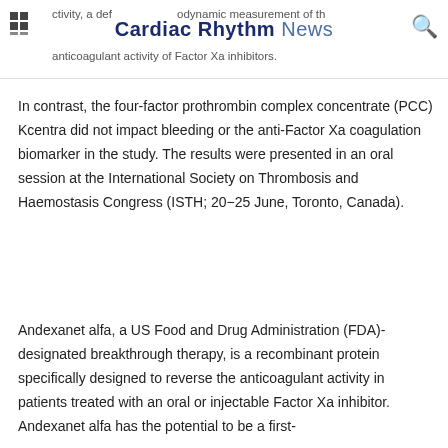ctivity, a definitive pharmacodynamic measurement of the anticoagulant activity of Factor Xa inhibitors. | Cardiac Rhythm News
In contrast, the four-factor prothrombin complex concentrate (PCC) Kcentra did not impact bleeding or the anti-Factor Xa coagulation biomarker in the study. The results were presented in an oral session at the International Society on Thrombosis and Haemostasis Congress (ISTH; 20−25 June, Toronto, Canada).
Andexanet alfa, a US Food and Drug Administration (FDA)-designated breakthrough therapy, is a recombinant protein specifically designed to reverse the anticoagulant activity in patients treated with an oral or injectable Factor Xa inhibitor. Andexanet alfa has the potential to be a first-